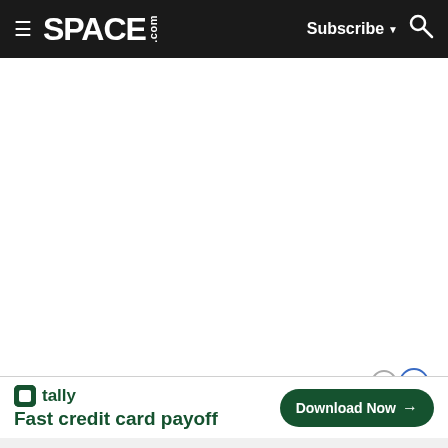SPACE.com — Subscribe | Search
[Figure (screenshot): White content area, blank page body of space.com website]
[Figure (infographic): Advertisement banner for Tally app: 'Fast credit card payoff' with 'Download Now' button in dark green, close and info controls in top-right corner]